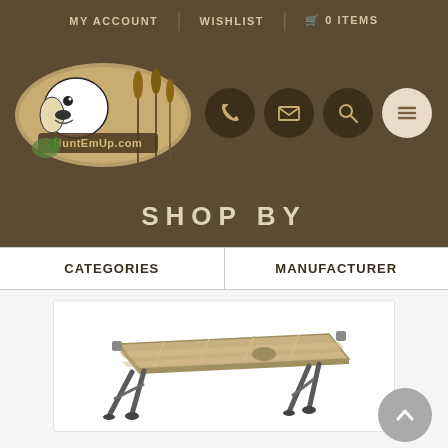MY ACCOUNT | WISHLIST | 0 ITEMS
[Figure (logo): HuntEmUp.com logo with a Labrador retriever dog holding a duck, surrounded by cattails in an oval frame]
[Figure (other): Navigation icon buttons: phone, email/envelope, search/magnifying glass, and hamburger menu]
SHOP BY
CATEGORIES | MANUFACTURER
[Figure (photo): A folding camp cot or elevated dog bed with tan/khaki fabric and dark metal legs, shown at an angle]